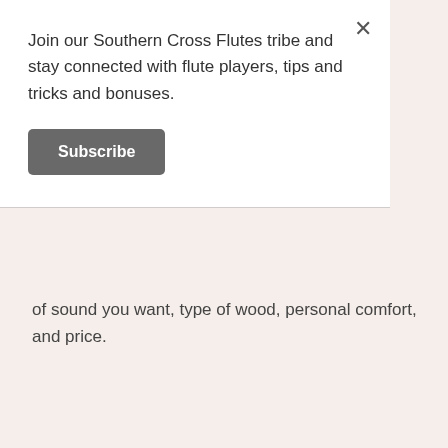Join our Southern Cross Flutes tribe and stay connected with flute players, tips and tricks and bonuses.
Subscribe
of sound you want, type of wood, personal comfort, and price.